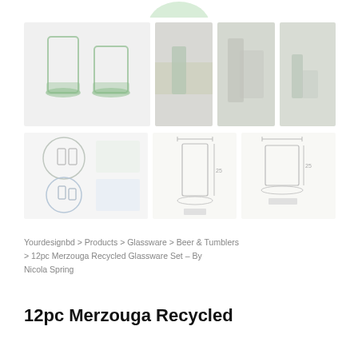[Figure (photo): Partially visible logo at top of page]
[Figure (photo): Product gallery showing recycled glassware: main product shot of two green-tinted glasses, and three lifestyle/context photos of the glasses in outdoor table settings]
[Figure (schematic): Technical diagram row showing: product info circles with glass illustrations, tall glass technical drawing with dimensions, and short glass technical drawing with dimensions]
Yourdesignbd > Products > Glassware > Beer & Tumblers > 12pc Merzouga Recycled Glassware Set – By Nicola Spring
12pc Merzouga Recycled